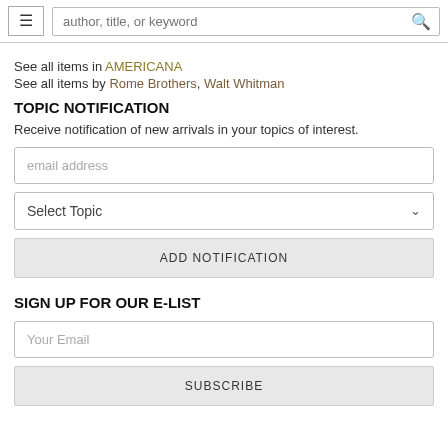≡  author, title, or keyword  🔍
See all items in AMERICANA
See all items by Rome Brothers, Walt Whitman
TOPIC NOTIFICATION
Receive notification of new arrivals in your topics of interest.
email address
Select Topic
ADD NOTIFICATION
SIGN UP FOR OUR E-LIST
Your Email
SUBSCRIBE